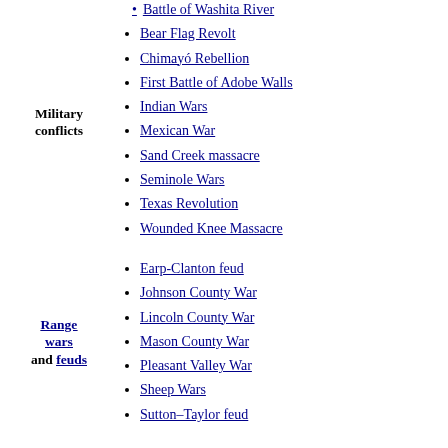Military conflicts
Battle of Washita River
Bear Flag Revolt
Chimayó Rebellion
First Battle of Adobe Walls
Indian Wars
Mexican War
Sand Creek massacre
Seminole Wars
Texas Revolution
Wounded Knee Massacre
Range wars and feuds
Earp-Clanton feud
Johnson County War
Lincoln County War
Mason County War
Pleasant Valley War
Sheep Wars
Sutton–Taylor feud
Lists
Arizona Rangers
Cowboys and cowgirls
Gangs
Ghost towns
Gunfights
Lawmen
Mountain men